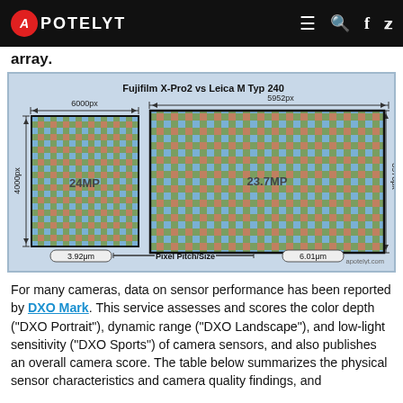A POTELYT
array.
[Figure (infographic): Sensor size comparison diagram: Fujifilm X-Pro2 vs Leica M Typ 240. Left sensor: 6000px wide, 4000px tall, 24MP, pixel pitch 3.92μm. Right sensor: 5952px wide, 3976px tall, 23.7MP, pixel pitch 6.01μm. Both sensors shown with Bayer color filter array pattern. Label: Pixel Pitch/Size between the two pitch values.]
For many cameras, data on sensor performance has been reported by DXO Mark. This service assesses and scores the color depth ("DXO Portrait"), dynamic range ("DXO Landscape"), and low-light sensitivity ("DXO Sports") of camera sensors, and also publishes an overall camera score. The table below summarizes the physical sensor characteristics and camera quality findings, and